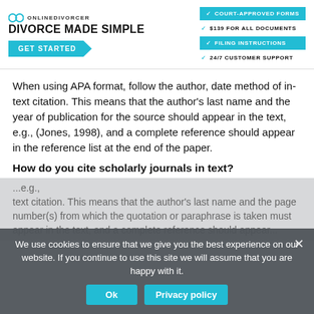[Figure (logo): OnlineDivorcer logo with 'DIVORCE MADE SIMPLE' branding, GET STARTED button, and feature badges: court-approved forms, $139 for all documents, filing instructions, 24/7 customer support]
When using APA format, follow the author, date method of in-text citation. This means that the author's last name and the year of publication for the source should appear in the text, e.g., (Jones, 1998), and a complete reference should appear in the reference list at the end of the paper.
How do you cite scholarly journals in text?
We use cookies to ensure that we give you the best experience on our website. If you continue to use this site we will assume that you are happy with it.
text citation. This means that the author's last name and the page number(s) from which the quotation or paraphrase is taken must appear in the text, and a complete reference should appear...